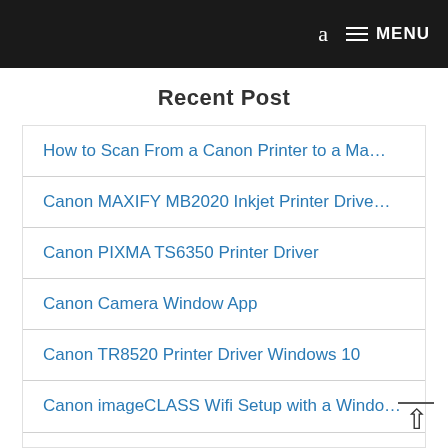a  MENU
Recent Post
How to Scan From a Canon Printer to a Ma…
Canon MAXIFY MB2020 Inkjet Printer Drive…
Canon PIXMA TS6350 Printer Driver
Canon Camera Window App
Canon TR8520 Printer Driver Windows 10
Canon imageCLASS Wifi Setup with a Windo…
Setting up Your Wireless Canon PIXMA TS3